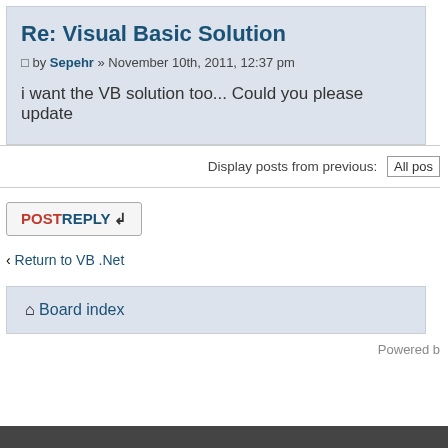Re: Visual Basic Solution
by Sepehr » November 10th, 2011, 12:37 pm
i want the VB solution too... Could you please update
Display posts from previous: All pos
POSTREPLY
« Return to VB .Net
Board index
Powered b